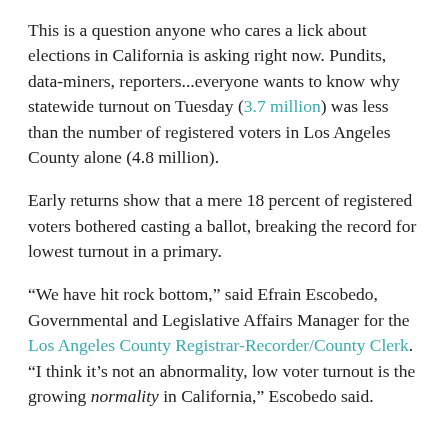This is a question anyone who cares a lick about elections in California is asking right now. Pundits, data-miners, reporters...everyone wants to know why statewide turnout on Tuesday (3.7 million) was less than the number of registered voters in Los Angeles County alone (4.8 million).
Early returns show that a mere 18 percent of registered voters bothered casting a ballot, breaking the record for lowest turnout in a primary.
“We have hit rock bottom,” said Efrain Escobedo, Governmental and Legislative Affairs Manager for the Los Angeles County Registrar-Recorder/County Clerk. “I think it’s not an abnormality, low voter turnout is the growing normality in California,” Escobedo said.